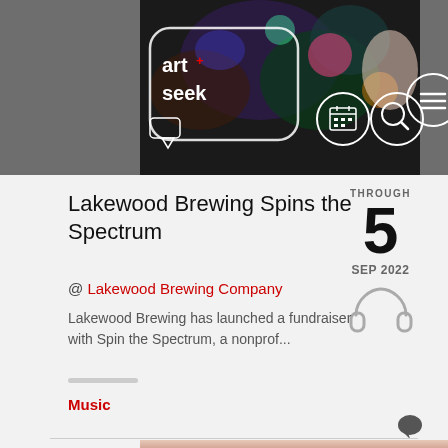[Figure (screenshot): ArtSeek website header banner with logo and colorful art background. Logo reads 'art+seek' in white on dark background. Navigation icons (calendar, search, menu) visible top right.]
Lakewood Brewing Spins the Spectrum
@ Lakewood Brewing Company
Lakewood Brewing has launched a fundraiser with Spin the Spectrum, a nonprof...
Music
[Figure (photo): Partial photo of two women at the bottom of the page]